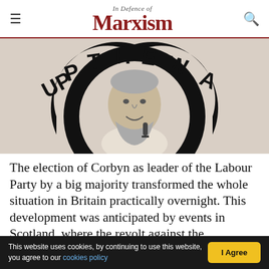In Defence of Marxism
[Figure (photo): Black and white photo of Jeremy Corbyn speaking at a microphone, with a large circular Stop the War Coalition logo graphic behind him in black, red, and white tones.]
The election of Corbyn as leader of the Labour Party by a big majority transformed the whole situation in Britain practically overnight. This development was anticipated by events in Scotland, where the revolt against the establishment was reflected in the rapid growth of the SNP. This was
This website uses cookies, by continuing to use this website, you agree to our cookies policy  |  I Agree